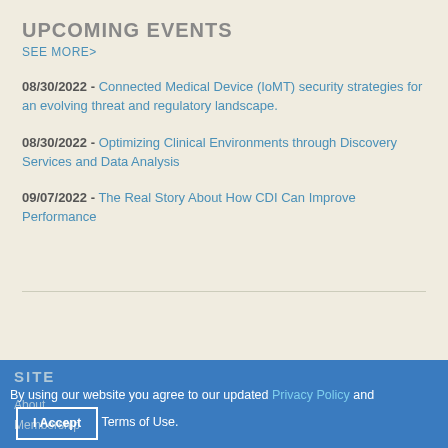UPCOMING EVENTS
SEE MORE>
08/30/2022 - Connected Medical Device (IoMT) security strategies for an evolving threat and regulatory landscape.
08/30/2022 - Optimizing Clinical Environments through Discovery Services and Data Analysis
09/07/2022 - The Real Story About How CDI Can Improve Performance
SITE
About
Membership
By using our website you agree to our updated Privacy Policy and Terms of Use.
I Accept